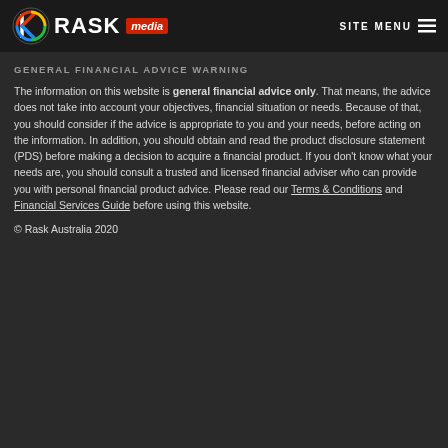RASK media | SITE MENU
GENERAL FINANCIAL ADVICE WARNING
The information on this website is general financial advice only. That means, the advice does not take into account your objectives, financial situation or needs. Because of that, you should consider if the advice is appropriate to you and your needs, before acting on the information. In addition, you should obtain and read the product disclosure statement (PDS) before making a decision to acquire a financial product. If you don't know what your needs are, you should consult a trusted and licensed financial adviser who can provide you with personal financial product advice. Please read our Terms & Conditions and Financial Services Guide before using this website.
© Rask Australia 2020